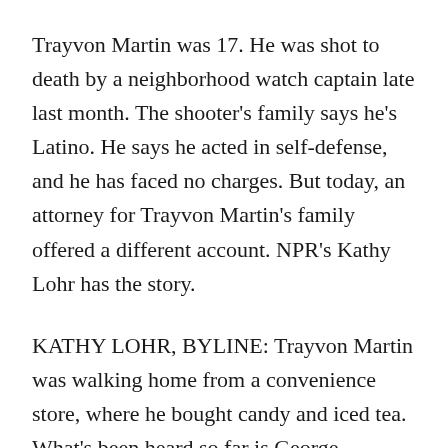Trayvon Martin was 17. He was shot to death by a neighborhood watch captain late last month. The shooter's family says he's Latino. He says he acted in self-defense, and he has faced no charges. But today, an attorney for Trayvon Martin's family offered a different account. NPR's Kathy Lohr has the story.
KATHY LOHR, BYLINE: Trayvon Martin was walking home from a convenience store, where he bought candy and iced tea. What's been heard so far is George Zimmerman's account of what happened. He's the neighborhood watch captain who called 911 to report a suspicious male. Zimmerman followed the teen, even though the emergency operator told him to stop. After a confrontation, the teen was dead from a single gunshot to the chest. Zimmerman claims Trayvon was the aggressor.